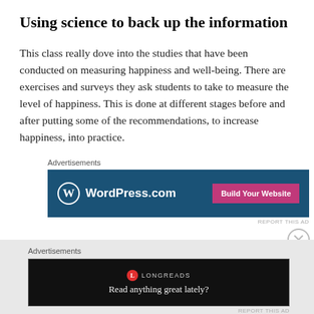Using science to back up the information
This class really dove into the studies that have been conducted on measuring happiness and well-being. There are exercises and surveys they ask students to take to measure the level of happiness. This is done at different stages before and after putting some of the recommendations, to increase happiness, into practice.
[Figure (screenshot): WordPress.com advertisement banner with blue background, WordPress logo on left, and 'Build Your Website' pink button on right]
[Figure (screenshot): Longreads advertisement banner with black background, Longreads logo and tagline 'Read anything great lately?']